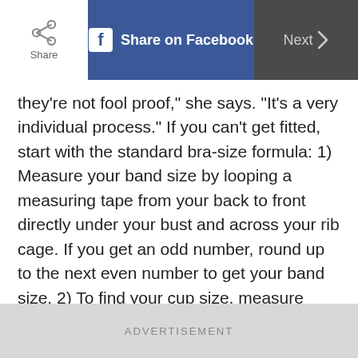Share | Share on Facebook | Next >
they're not fool proof," she says. "It's a very individual process." If you can't get fitted, start with the standard bra-size formula: 1) Measure your band size by looping a measuring tape from your back to front directly under your bust and across your rib cage. If you get an odd number, round up to the next even number to get your band size. 2) To find your cup size, measure loosely around the fullest part of your chest and subtract your band measurement from this bus measurement. The difference calculates your cup size (a one-inch difference is an A cup; a two-inch difference is a B
ADVERTISEMENT